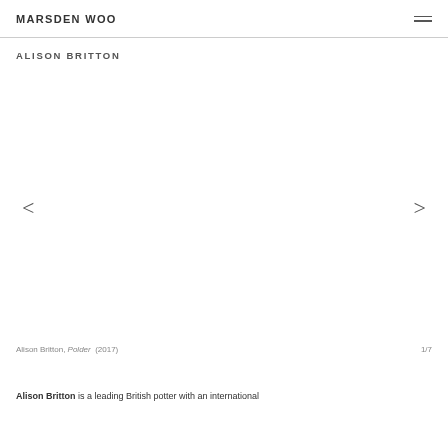MARSDEN WOO
ALISON BRITTON
[Figure (other): Gallery image viewer area with left and right navigation arrows (< and >) and a blank/empty image display area in between]
Alison Britton, Polder (2017)   1/7
Alison Britton is a leading British potter with an international